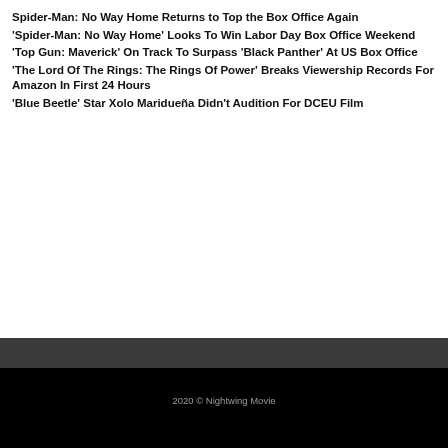Spider-Man: No Way Home Returns to Top the Box Office Again
'Spider-Man: No Way Home' Looks To Win Labor Day Box Office Weekend
'Top Gun: Maverick' On Track To Surpass 'Black Panther' At US Box Office
'The Lord Of The Rings: The Rings Of Power' Breaks Viewership Records For Amazon In First 24 Hours
'Blue Beetle' Star Xolo Maridueña Didn't Audition For DCEU Film
2020 © Nightwing Movie